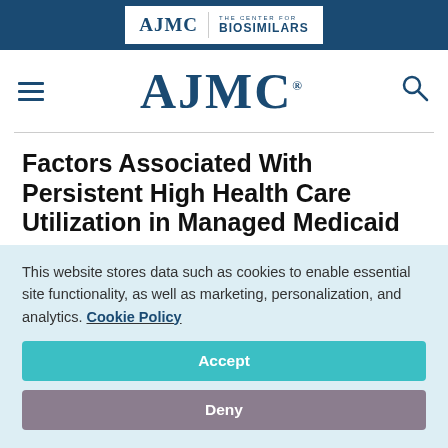AJMC | THE CENTER FOR BIOSIMILARS
[Figure (logo): AJMC main logo with hamburger menu and search icon]
Factors Associated With Persistent High Health Care Utilization in Managed Medicaid
August 12, 2021
This website stores data such as cookies to enable essential site functionality, as well as marketing, personalization, and analytics. Cookie Policy
Accept
Deny